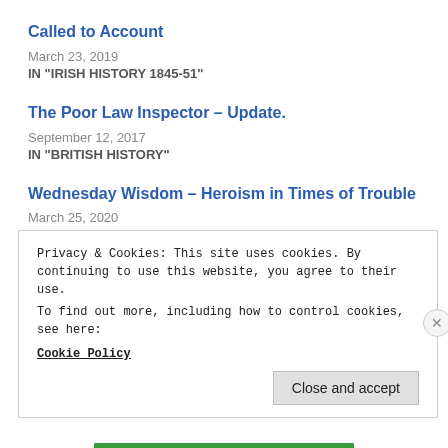Called to Account
March 23, 2019
IN "IRISH HISTORY 1845-51"
The Poor Law Inspector – Update.
September 12, 2017
IN "BRITISH HISTORY"
Wednesday Wisdom – Heroism in Times of Trouble
March 25, 2020
IN "GENERAL POSTS"
Privacy & Cookies: This site uses cookies. By continuing to use this website, you agree to their use.
To find out more, including how to control cookies, see here:
Cookie Policy
Close and accept